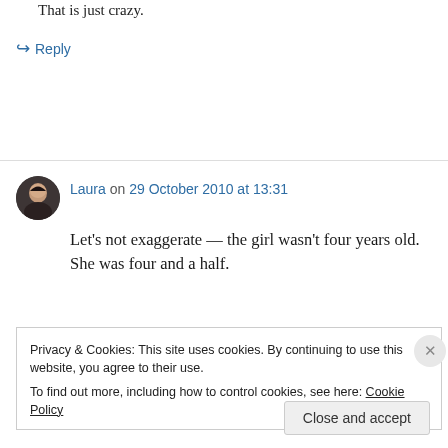That is just crazy.
↪ Reply
Laura on 29 October 2010 at 13:31
Let's not exaggerate — the girl wasn't four years old. She was four and a half.
Privacy & Cookies: This site uses cookies. By continuing to use this website, you agree to their use.
To find out more, including how to control cookies, see here: Cookie Policy
Close and accept